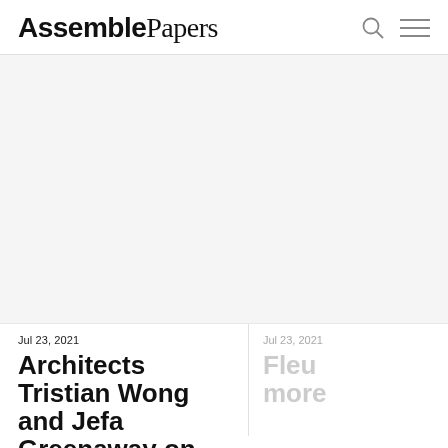AssemblePapers
[Figure (illustration): Large blank/white hero image area below the navigation header]
Jul 23, 2021
Architects Tristian Wong and Jefa Greenaway on
Jul 23, 2021
Fleur more